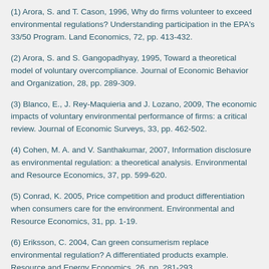(1) Arora, S. and T. Cason, 1996, Why do firms volunteer to exceed environmental regulations? Understanding participation in the EPA's 33/50 Program. Land Economics, 72, pp. 413-432.
(2) Arora, S. and S. Gangopadhyay, 1995, Toward a theoretical model of voluntary overcompliance. Journal of Economic Behavior and Organization, 28, pp. 289-309.
(3) Blanco, E., J. Rey-Maquieria and J. Lozano, 2009, The economic impacts of voluntary environmental performance of firms: a critical review. Journal of Economic Surveys, 33, pp. 462-502.
(4) Cohen, M. A. and V. Santhakumar, 2007, Information disclosure as environmental regulation: a theoretical analysis. Environmental and Resource Economics, 37, pp. 599-620.
(5) Conrad, K. 2005, Price competition and product differentiation when consumers care for the environment. Environmental and Resource Economics, 31, pp. 1-19.
(6) Eriksson, C. 2004, Can green consumerism replace environmental regulation? A differentiated products example. Resource and Energy Economics, 26, pp. 281-293.
(7) Friesen, L. 2006, The social welfare implications of industry